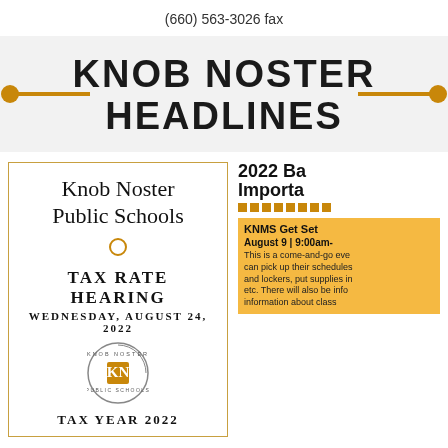(660) 563-3026 fax
KNOB NOSTER HEADLINES
[Figure (infographic): Knob Noster Public Schools Tax Rate Hearing notice box with school logo, dated Wednesday, August 24, 2022]
[Figure (infographic): 2022 Back to School Important Dates panel showing KNMS Get Set event on August 9, 9:00am with description text about come-and-go event for schedules, lockers, supplies, and class information]